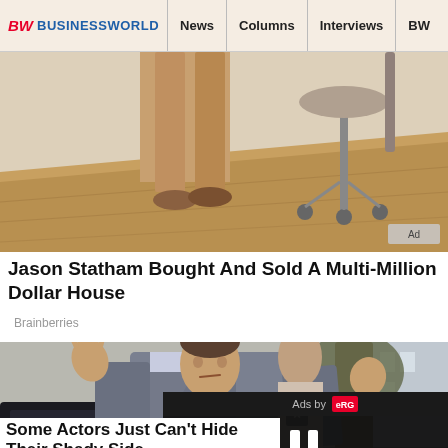BW BUSINESSWORLD | News | Columns | Interviews | BW
[Figure (photo): Advertisement photo showing person's legs and lower body near an office chair on a wooden floor]
Jason Statham Bought And Sold A Multi-Million Dollar House
Brainberries
[Figure (photo): Photo of Tom Cruise with hands raised, wearing suit vest and tie, standing near a car door, with a video player overlay showing 'Ads by' logo and pause button]
Some Actors Just Can't Hide Their Shady Side